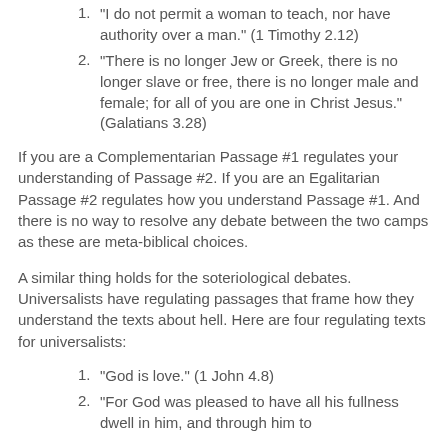1. "I do not permit a woman to teach, nor have authority over a man." (1 Timothy 2.12)
2. "There is no longer Jew or Greek, there is no longer slave or free, there is no longer male and female; for all of you are one in Christ Jesus." (Galatians 3.28)
If you are a Complementarian Passage #1 regulates your understanding of Passage #2. If you are an Egalitarian Passage #2 regulates how you understand Passage #1. And there is no way to resolve any debate between the two camps as these are meta-biblical choices.
A similar thing holds for the soteriological debates. Universalists have regulating passages that frame how they understand the texts about hell. Here are four regulating texts for universalists:
1. "God is love." (1 John 4.8)
2. "For God was pleased to have all his fullness dwell in him, and through him to